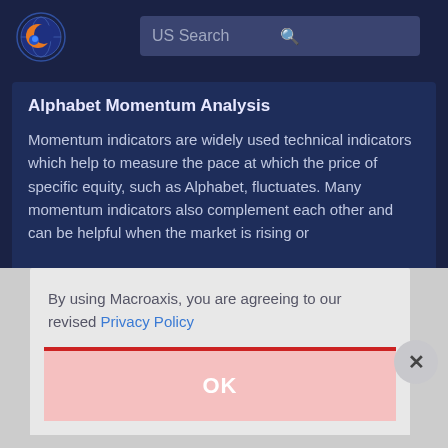US Search
Alphabet Momentum Analysis
Momentum indicators are widely used technical indicators which help to measure the pace at which the price of specific equity, such as Alphabet, fluctuates. Many momentum indicators also complement each other and can be helpful when the market is rising or
By using Macroaxis, you are agreeing to our revised Privacy Policy
OK